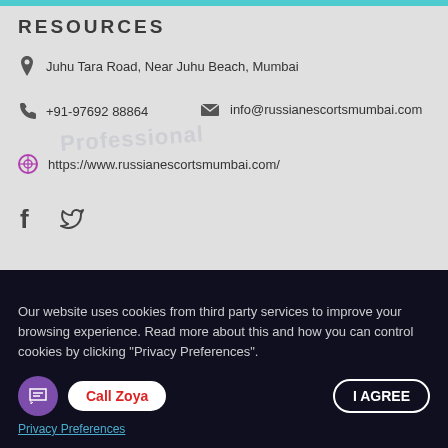RESOURCES
Juhu Tara Road, Near Juhu Beach, Mumbai
+91-97692 88864
info@russianescortsmumbai.com
https://www.russianescortsmumbai.com/
[Figure (logo): Russian Escorts Mumbai logo with woman figure, brand name and phone number +91-9769288864]
Escort Diary
Escorts On Tour
Our website uses cookies from third party services to improve your browsing experience. Read more about this and how you can control cookies by clicking "Privacy Preferences".
Privacy Preferences
Call Zoya
I AGREE